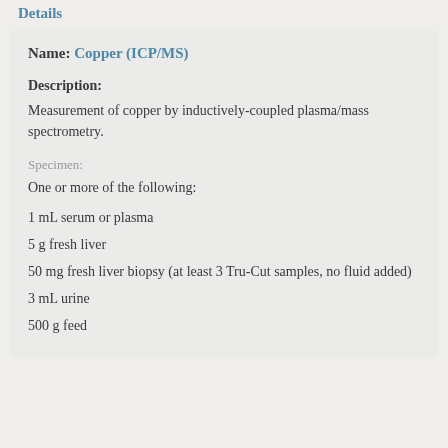Details
Name: Copper (ICP/MS)
Description:
Measurement of copper by inductively-coupled plasma/mass spectrometry.
Specimen:
One or more of the following:
1 mL serum or plasma
5 g fresh liver
50 mg fresh liver biopsy (at least 3 Tru-Cut samples, no fluid added)
3 mL urine
500 g feed